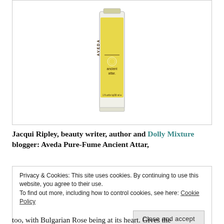[Figure (photo): Aveda Ancient Attar perfume bottle – tall rectangular clear glass bottle with yellow label reading 'AVEDA | ancient attar' and '1 fl oz/br lq/30 ml e' at the bottom]
Jacqui Ripley, beauty writer, author and Dolly Mixture blogger: Aveda Pure-Fume Ancient Attar,
Privacy & Cookies: This site uses cookies. By continuing to use this website, you agree to their use.
To find out more, including how to control cookies, see here: Cookie Policy
too, with Bulgarian Rose being at its heart. Gives the